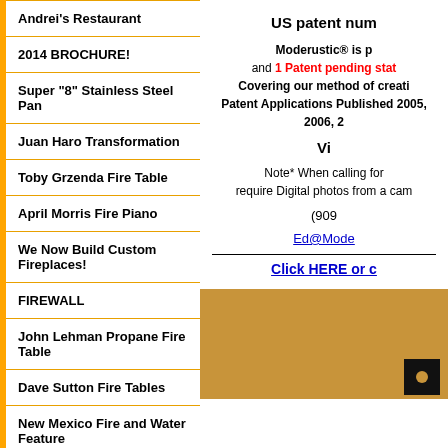Andrei's Restaurant
2014 BROCHURE!
Super "8" Stainless Steel Pan
Juan Haro Transformation
Toby Grzenda Fire Table
April Morris Fire Piano
We Now Build Custom Fireplaces!
FIREWALL
John Lehman Propane Fire Table
Dave Sutton Fire Tables
New Mexico Fire and Water Feature
Car Garden
Aurora Home and
US patent num
Moderustic® is p and 1 Patent pending stat Covering our method of creati Patent Applications Published 2005, 2006, 2
Vi
Note* When calling for require Digital photos from a cam
(909
Ed@Mode
Click HERE or c
[Figure (photo): Photo showing a tan/brown surface with a dark black box in the lower right corner containing an orange circle.]